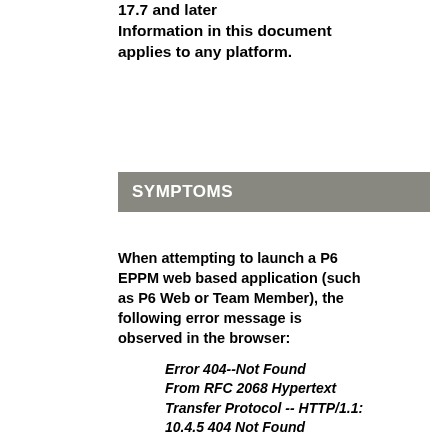17.7 and later Information in this document applies to any platform.
SYMPTOMS
When attempting to launch a P6 EPPM web based application (such as P6 Web or Team Member), the following error message is observed in the browser:
Error 404--Not Found From RFC 2068 Hypertext Transfer Protocol -- HTTP/1.1: 10.4.5 404 Not Found

The server has not found anything matching the Request-URI. No indication is given of whether the condition is temporary or permanent.

If the server does not wish to